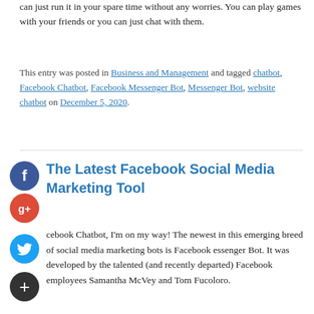can just run it in your spare time without any worries. You can play games with your friends or you can just chat with them.
This entry was posted in Business and Management and tagged chatbot, Facebook Chatbot, Facebook Messenger Bot, Messenger Bot, website chatbot on December 5, 2020.
The Latest Facebook Social Media Marketing Tool
cebook Chatbot, I'm on my way! The newest in this emerging breed of social media marketing bots is Facebook essenger Bot. It was developed by the talented (and recently departed) Facebook employees Samantha McVey and Tom Fucoloro.